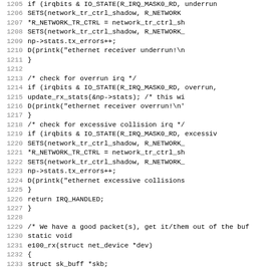Source code listing, lines 1205–1236+, showing C network driver interrupt handler and e100_rx function.